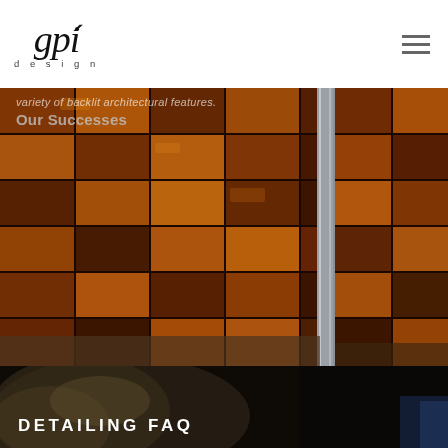[Figure (logo): gpi design logo in italic script with 'design' in small spaced letters below]
[Figure (photo): Interior architectural photo showing a large decorative wall panel with dark amber/tortoiseshell glass or stone tiles in a grid pattern, with metal framing dividers, in what appears to be a luxury interior space]
variety of backlit architectural features.
Our Successes
[Figure (photo): Bottom portion of page showing dark background with metallic/silver object partially visible]
DETAILING FAQ